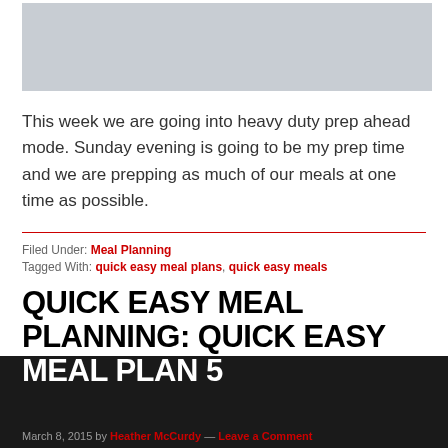[Figure (photo): Gray placeholder image area at the top of the page]
This week we are going into heavy duty prep ahead mode. Sunday evening is going to be my prep time and we are prepping as much of our meals at one time as possible.
Filed Under: Meal Planning
Tagged With: quick easy meal plans, quick easy meals
QUICK EASY MEAL PLANNING: QUICK EASY MEAL PLAN 5
March 8, 2015 by Heather McCurdy — Leave a Comment